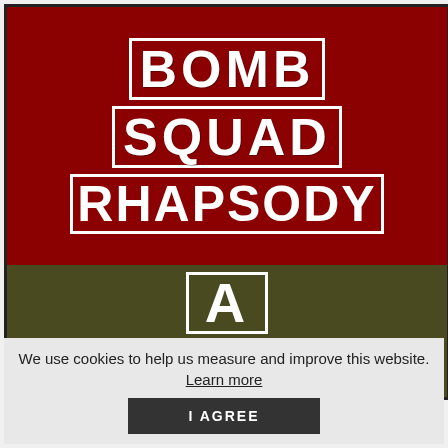[Figure (illustration): Book or movie poster for 'Bomb Squad Rhapsody - A Severed...' with red background top section showing 'BOMB SQUAD RHAPSODY' in white distressed stencil lettering, and olive/khaki bottom section showing 'A' and 'SEVERED' in similar style]
We use cookies to help us measure and improve this website. Learn more
I AGREE
AUG 25, 2023